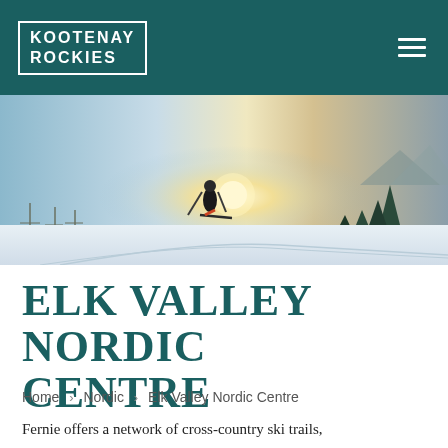KOOTENAY ROCKIES
[Figure (photo): A cross-country skier silhouetted against a bright winter sun on a groomed snow trail, surrounded by trees and mountains in the background.]
Elk Valley Nordic Centre
Home > Nordic > Elk Valley Nordic Centre
Fernie offers a network of cross-country ski trails,